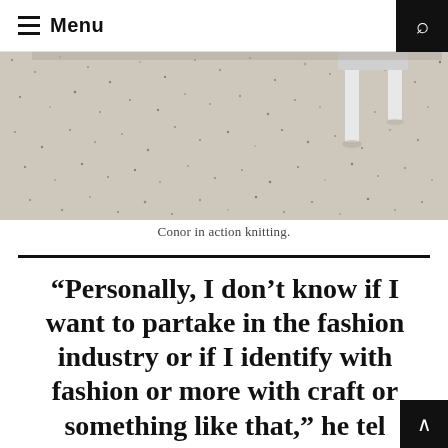Menu
[Figure (photo): A photo showing a speckled concrete or terrazzo floor surface with a white metal chair or stool leg visible in the upper right area. The image is cropped, showing only the lower portion of the scene.]
Conor in action knitting.
“Personally, I don’t know if I want to partake in the fashion industry or if I identify with fashion or more with craft or something like that,” he tel